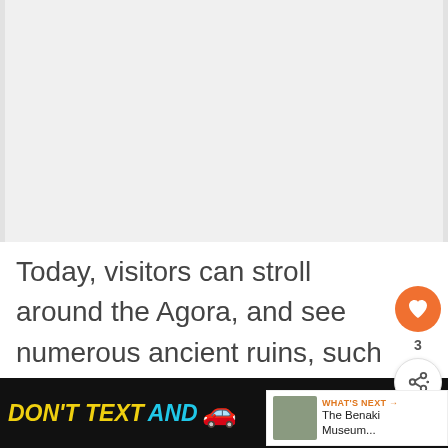[Figure (other): Gray blank content area placeholder at top of page]
Today, visitors can stroll around the Agora, and see numerous ancient ruins, such as the temple of Hephaestus. Do not miss the interesting museum, hosted refurbished Stoa of Attalos, one of
[Figure (infographic): WHAT'S NEXT arrow label with The Benaki Museum... thumbnail and circular photo]
[Figure (infographic): DON'T TEXT AND [car emoji] advertisement banner with NHTSA logo and ad badge and weather icon]